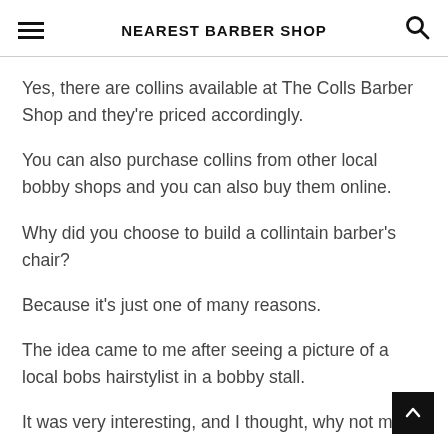NEAREST BARBER SHOP
Yes, there are collins available at The Colls Barber Shop and they're priced accordingly.
You can also purchase collins from other local bobby shops and you can also buy them online.
Why did you choose to build a collintain barber's chair?
Because it's just one of many reasons.
The idea came to me after seeing a picture of a local bobs hairstylist in a bobby stall.
It was very interesting, and I thought, why not make